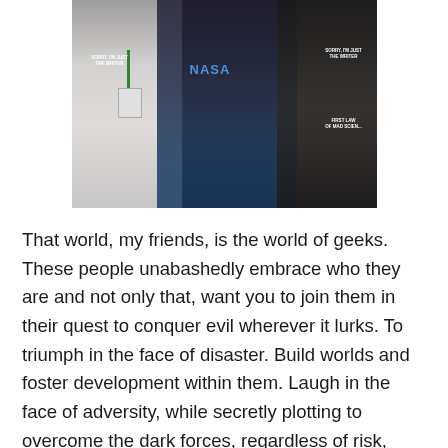[Figure (photo): Three people posing together at what appears to be a convention. The person on the left wears a white coat and a dark shirt reading 'SORRY, I'M JUST THE WRITER' with a green lanyard and badge. The person in the middle wears a NASA t-shirt and holds a book/tablet. The person on the right wears a dark shirt reading 'SORRY, I'M JUST THE WRITER' and 'FIRST LAW OF MAD SCIENCE' and holds what appears to be a book.]
That world, my friends, is the world of geeks. These people unabashedly embrace who they are and not only that, want you to join them in their quest to conquer evil wherever it lurks. To triumph in the face of disaster. Build worlds and foster development within them. Laugh in the face of adversity, while secretly plotting to overcome the dark forces, regardless of risk, expense, resources, plausibility, practicality…never mind the rogues or plot